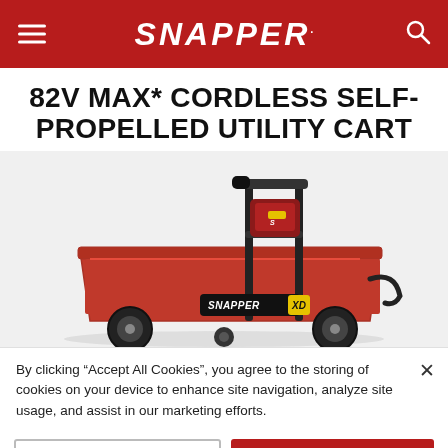SNAPPER.
82V MAX* CORDLESS SELF-PROPELLED UTILITY CART
[Figure (photo): Red Snapper XD 82V MAX cordless self-propelled utility cart with red bin, black steel frame, battery mounted on back, and handlebar controls.]
By clicking “Accept All Cookies”, you agree to the storing of cookies on your device to enhance site navigation, analyze site usage, and assist in our marketing efforts.